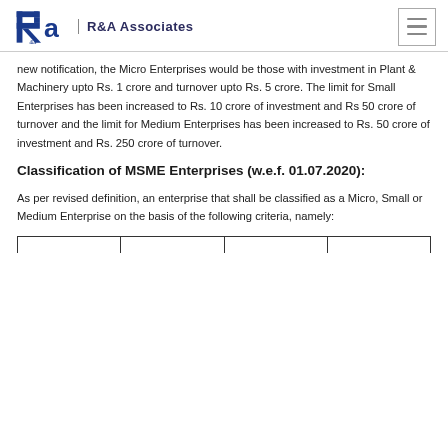R&A Associates
new notification, the Micro Enterprises would be those with investment in Plant & Machinery upto Rs. 1 crore and turnover upto Rs. 5 crore. The limit for Small Enterprises has been increased to Rs. 10 crore of investment and Rs 50 crore of turnover and the limit for Medium Enterprises has been increased to Rs. 50 crore of investment and Rs. 250 crore of turnover.
Classification of MSME Enterprises (w.e.f. 01.07.2020):
As per revised definition, an enterprise that shall be classified as a Micro, Small or Medium Enterprise on the basis of the following criteria, namely: